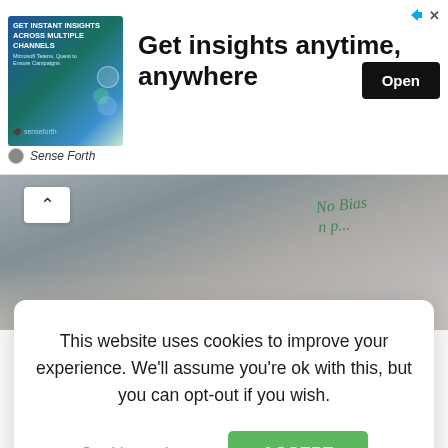[Figure (screenshot): Advertisement banner: image of woman using phone with text 'GET INSTANT INSIGHTS ACROSS MULTIPLE CHANNELS', headline 'Get insights anytime, anywhere', Open button, and 'Sense Forth' sponsor label. Close/arrow icons top right.]
[Figure (photo): Upper background photo showing a person wearing a shirt with 'No Bias' text, blurred/greyed out behind a cookie consent modal.]
This website uses cookies to improve your experience. We'll assume you're ok with this, but you can opt-out if you wish.
Cookie settings
ACCEPT
[Figure (photo): Lower background photo showing a person in dark jeans seated on a brown leather tufted sofa/chair, with a red scroll-to-top button in the bottom right corner.]